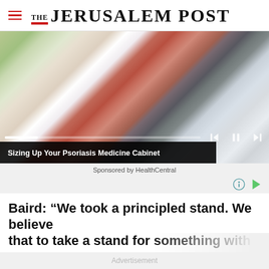THE JERUSALEM POST
[Figure (photo): Woman in red plaid shirt crouching in a store aisle looking at products on shelves, with video player controls overlay]
Sizing Up Your Psoriasis Medicine Cabinet
Sponsored by HealthCentral
Baird: “We took a principled stand. We believe th...
Advertisement